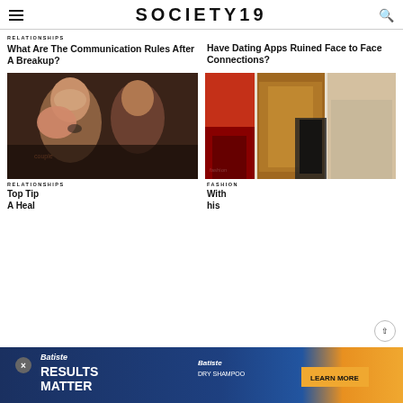SOCIETY19
RELATIONSHIPS
What Are The Communication Rules After A Breakup?
Have Dating Apps Ruined Face to Face Connections?
[Figure (photo): A laughing couple close together, woman with red hair laughing, man leaning in, romantic scene]
[Figure (photo): Street fashion photo showing several women in coats — red, tan suede, and beige fur — walking on a street]
RELATIONSHIPS
FASHION
Top Tips For A Heal...
...With his
[Figure (photo): Batiste advertisement banner — RESULTS MATTER text with tropical design]